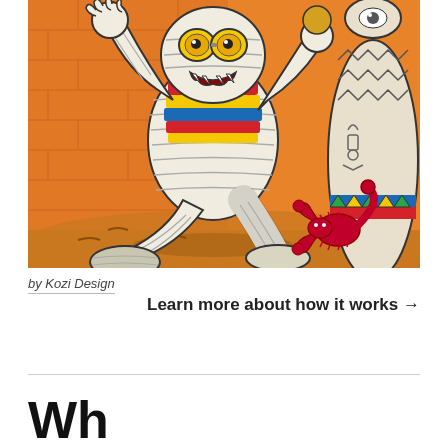[Figure (illustration): Cartoon mummy character with colorful striped scarf, yellow goggles, fanged grin, raising one arm and stepping forward. Orange brick wall background, Egyptian canopic jar on right, red scorpion on sandy ground. Cartoon illustration style.]
by Kozi Design
Learn more about how it works →
Wh...